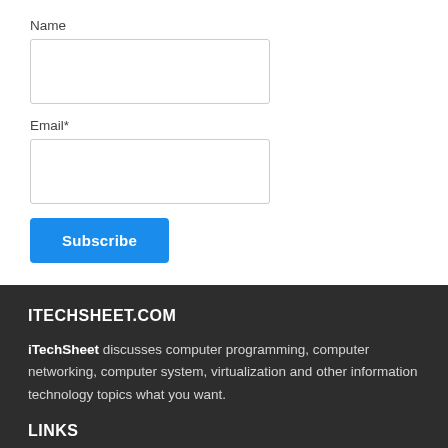Name
Email*
Subscribe
ITECHSHEET.COM
iTechSheet discusses computer programming, computer networking, computer system, virtualization and other information technology topics what you want.
LINKS
About iTechSheet